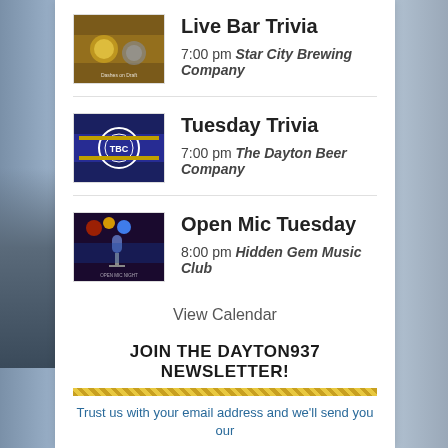Live Bar Trivia — 7:00 pm Star City Brewing Company
Tuesday Trivia — 7:00 pm The Dayton Beer Company
Open Mic Tuesday — 8:00 pm Hidden Gem Music Club
View Calendar
JOIN THE DAYTON937 NEWSLETTER!
Trust us with your email address and we'll send you our